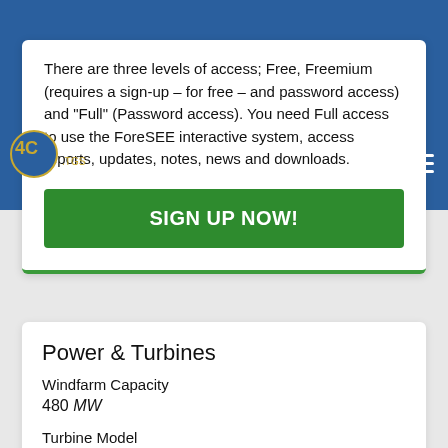4C Offshore TGS
There are three levels of access; Free, Freemium (requires a sign-up – for free – and password access) and "Full" (Password access). You need Full access to use the ForeSEE interactive system, access reports, updates, notes, news and downloads.
SIGN UP NOW!
Power & Turbines
Windfarm Capacity
480 MW
Turbine Model
Unlock with a freemium account
Other Turbine(s) Used